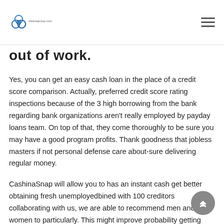vladosgroup.com logo and navigation
out of work.
Yes, you can get an easy cash loan in the place of a credit score comparison. Actually, preferred credit score rating inspections because of the 3 high borrowing from the bank regarding bank organizations aren't really employed by payday loans team. On top of that, they come thoroughly to be sure you may have a good program profits. Thank goodness that jobless masters if not personal defense care about-sure delivering regular money.
CashinaSnap will allow you to has an instant cash get better obtaining fresh unemployedbined with 100 creditors collaborating with us, we are able to recommend men and women to particularly. This might improve probability getting mortgage approvals. Because of this , even more